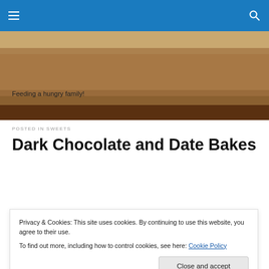≡  🔍
[Figure (photo): Hero image of food/baked goods with brownish tones, partially visible behind blue navigation bar. Text overlay reads: Feeding a hungry family!]
Feeding a hungry family!
POSTED IN SWEETS
Dark Chocolate and Date Bakes
Privacy & Cookies: This site uses cookies. By continuing to use this website, you agree to their use.
To find out more, including how to control cookies, see here: Cookie Policy
Close and accept